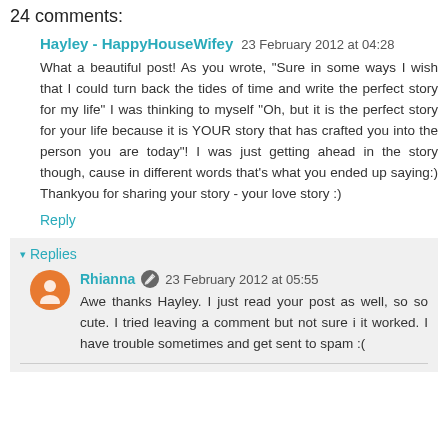24 comments:
Hayley - HappyHouseWifey  23 February 2012 at 04:28
What a beautiful post! As you wrote, "Sure in some ways I wish that I could turn back the tides of time and write the perfect story for my life" I was thinking to myself "Oh, but it is the perfect story for your life because it is YOUR story that has crafted you into the person you are today"! I was just getting ahead in the story though, cause in different words that's what you ended up saying:) Thankyou for sharing your story - your love story :)
Reply
▾ Replies
Rhianna  23 February 2012 at 05:55
Awe thanks Hayley. I just read your post as well, so so cute. I tried leaving a comment but not sure i it worked. I have trouble sometimes and get sent to spam :(